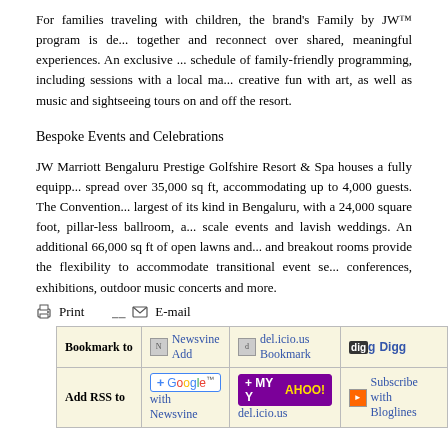For families traveling with children, the brand's Family by JW™ program is designed to keep families together and reconnect over shared, meaningful experiences. An exclusive ... schedule of family-friendly programming, including sessions with a local ma... creative fun with art, as well as music and sightseeing tours on and off the resort.
Bespoke Events and Celebrations
JW Marriott Bengaluru Prestige Golfshire Resort & Spa houses a fully equipped Convention Centre spread over 35,000 sq ft, accommodating up to 4,000 guests. The Convention Centre is the largest of its kind in Bengaluru, with a 24,000 square foot, pillar-less ballroom, a... scale events and lavish weddings. An additional 66,000 sq ft of open lawns and... and breakout rooms provide the flexibility to accommodate transitional event se... conferences, exhibitions, outdoor music concerts and more.
Print   E-mail
|  | Newsvine Add | del.icio.us Bookmark | Digg |
| --- | --- | --- | --- |
| Bookmark to | Newsvine Add | del.icio.us Bookmark | Digg |
| Add RSS to | + Google™ with Newsvine | + MY YAHOO! del.icio.us | Subscribe with Bloglines |